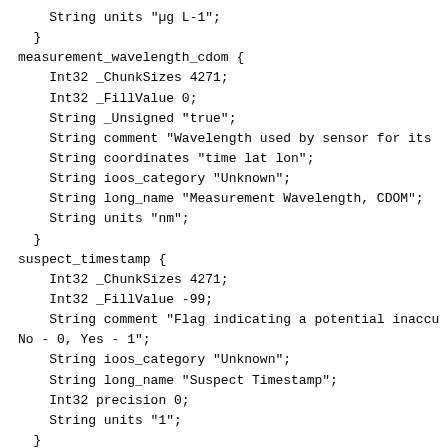String units "µg L-1";
  }
measurement_wavelength_cdom {
    Int32 _ChunkSizes 4271;
    Int32 _FillValue 0;
    String _Unsigned "true";
    String comment "Wavelength used by sensor for its
    String coordinates "time lat lon";
    String ioos_category "Unknown";
    String long_name "Measurement Wavelength, CDOM";
    String units "nm";
  }
suspect_timestamp {
    Int32 _ChunkSizes 4271;
    Int32 _FillValue -99;
    String comment "Flag indicating a potential inaccu
No - 0, Yes - 1";
    String ioos_category "Unknown";
    String long_name "Suspect Timestamp";
    Int32 precision 0;
    String units "1";
  }
time {
    Int32 _ChunkSizes 4271;
    String _CoordinateAxisType "Time";